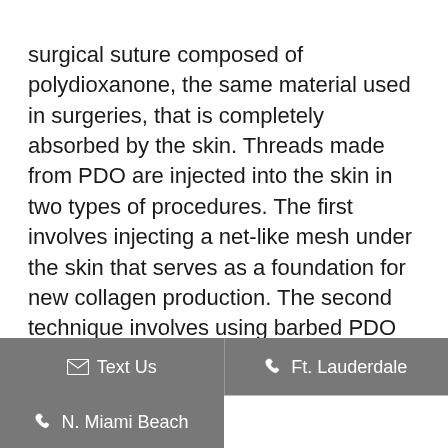surgical suture composed of polydioxanone, the same material used in surgeries, that is completely absorbed by the skin. Threads made from PDO are injected into the skin in two types of procedures. The first involves injecting a net-like mesh under the skin that serves as a foundation for new collagen production. The second technique involves using barbed PDO threads that provide a grip underneath the skin. The sutures are then pulled in either one or two directions for instant skin repositioning. The second technique is...
Text Us | Ft. Lauderdale | N. Miami Beach